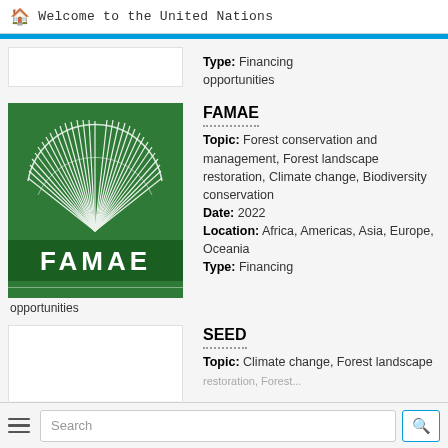Welcome to the United Nations
Type: Financing opportunities
[Figure (logo): FAMAE logo — green background with white fan/shell design and FAMAE text in white bold letters]
FAMAE
Topic: Forest conservation and management, Forest landscape restoration, Climate change, Biodiversity conservation
Date: 2022
Location: Africa, Americas, Asia, Europe, Oceania
Type: Financing
opportunities
[Figure (other): SEED entry image placeholder (white box)]
SEED
Topic: Climate change, Forest landscape restoration, Forest...